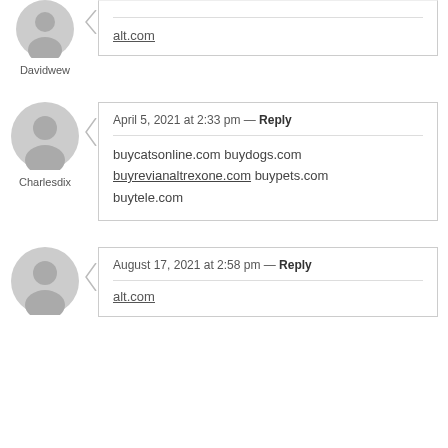alt.com
Davidwew
April 5, 2021 at 2:33 pm — Reply
buycatsonline.com buydogs.com buyrevianaltrexone.com buypets.com buytele.com
Charlesdix
August 17, 2021 at 2:58 pm — Reply
alt.com